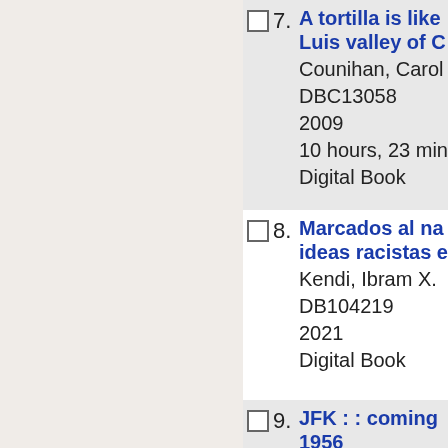7. A tortilla is like... Luis valley of C... Counihan, Carol DBC13058 2009 10 hours, 23 min Digital Book
8. Marcados al na... ideas racistas e... Kendi, Ibram X. DB104219 2021 Digital Book
9. JFK : : coming... 1956 Logevall, Fredrik DB101869 2020 Digital Book
10. Freedom colon...